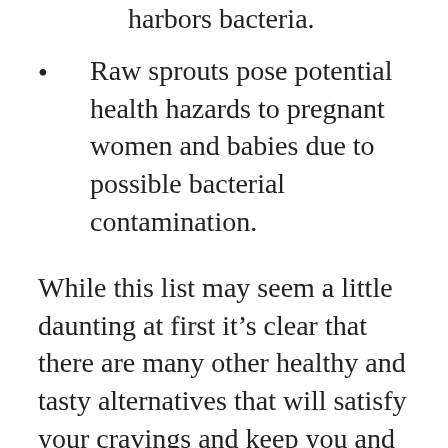Unwashed produce sometimes harbors bacteria.
Raw sprouts pose potential health hazards to pregnant women and babies due to possible bacterial contamination.
While this list may seem a little daunting at first it’s clear that there are many other healthy and tasty alternatives that will satisfy your cravings and keep you and your baby safe. The American Pregnancy Association advises mothers-to-be that “The food we eat on a daily basis affects how our bodies work, how we heal and